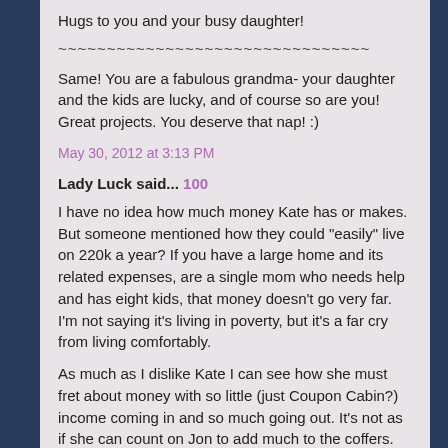Hugs to you and your busy daughter!
~~~~~~~~~~~~~~~~~~~~~~~~~~~~~~~~
Same! You are a fabulous grandma- your daughter and the kids are lucky, and of course so are you! Great projects. You deserve that nap! :)
May 30, 2012 at 3:13 PM
Lady Luck said... 100
I have no idea how much money Kate has or makes. But someone mentioned how they could "easily" live on 220k a year? If you have a large home and its related expenses, are a single mom who needs help and has eight kids, that money doesn't go very far. I'm not saying it's living in poverty, but it's a far cry from living comfortably.
As much as I dislike Kate I can see how she must fret about money with so little (just Coupon Cabin?) income coming in and so much going out. It's not as if she can count on Jon to add much to the coffers.